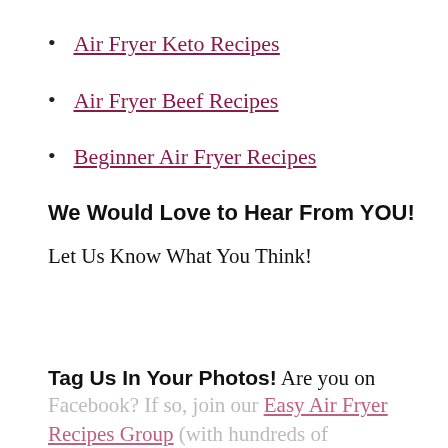Air Fryer Keto Recipes
Air Fryer Beef Recipes
Beginner Air Fryer Recipes
We Would Love to Hear From YOU!
Let Us Know What You Think!
Tag Us In Your Photos! Are you on Facebook? If so, join our Easy Air Fryer Recipes Group (with hundreds of